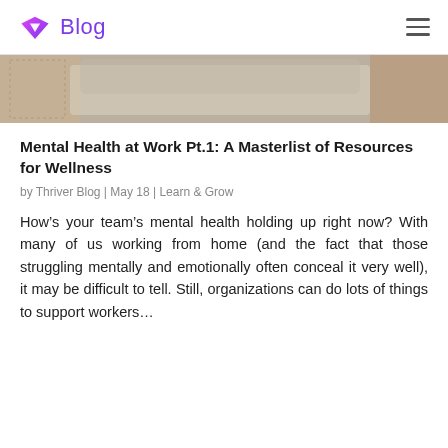Blog
[Figure (photo): Partial view of a bed with grey/beige bedding and headboard, cropped at top]
Mental Health at Work Pt.1: A Masterlist of Resources for Wellness
by Thriver Blog | May 18 | Learn & Grow
How’s your team’s mental health holding up right now? With many of us working from home (and the fact that those struggling mentally and emotionally often conceal it very well), it may be difficult to tell. Still, organizations can do lots of things to support workers…